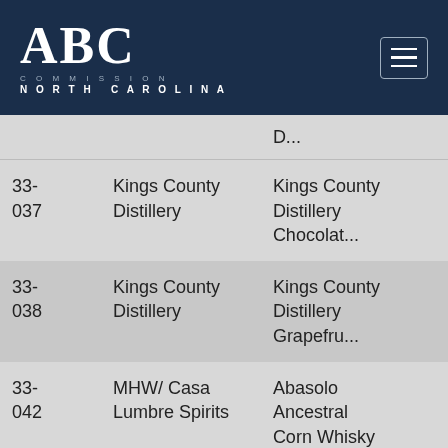ABC Commission North Carolina
| ID | Supplier | Product |  |
| --- | --- | --- | --- |
|  |  | D... |  |
| 33-037 | Kings County Distillery | Kings County Distillery Chocolat... |  |
| 33-038 | Kings County Distillery | Kings County Distillery Grapefru... |  |
| 33-042 | MHW/ Casa Lumbre Spirits | Abasolo Ancestral Corn Whisky |  |
| 33-091 | Hilton Head Distillery | The World's Best Moonshine |  |